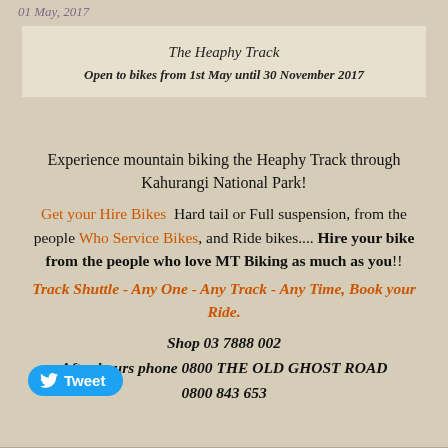01 May, 2017
The Heaphy Track
Open to bikes from 1st May until 30 November 2017
Experience mountain biking the Heaphy Track through Kahurangi National Park!
Get your Hire Bikes  Hard tail or Full suspension, from the people Who Service Bikes, and Ride bikes.... Hire your bike from the people who love MT Biking as much as you!!
Track Shuttle - Any One - Any Track - Any Time, Book your Ride.
Shop 03 7888 002
After hours phone 0800 THE OLD GHOST ROAD
0800 843 653
Tweet